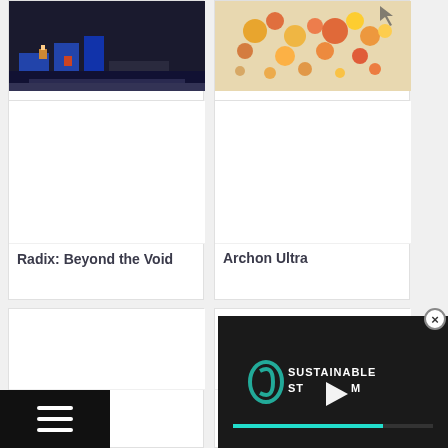[Figure (screenshot): Thumbnail of game 'Seven Cities of Gold, The' showing pixel art scene]
Seven Cities of Gold, The
[Figure (screenshot): Thumbnail of game 'Z' showing colorful scene with characters]
Z
[Figure (screenshot): Blank card thumbnail for Radix: Beyond the Void]
Radix: Beyond the Void
[Figure (screenshot): Blank card thumbnail for Archon Ultra]
Archon Ultra
[Figure (screenshot): Blank card thumbnail for Blood]
Blood
[Figure (screenshot): Blank card thumbnail for Blood & Magic]
Blood & Magic
[Figure (screenshot): Video popup overlay showing Sustainable Steam logo with play button and progress bar]
[Figure (other): Close button (X circle) for video popup]
[Figure (other): Hamburger menu icon (three horizontal lines on black background)]